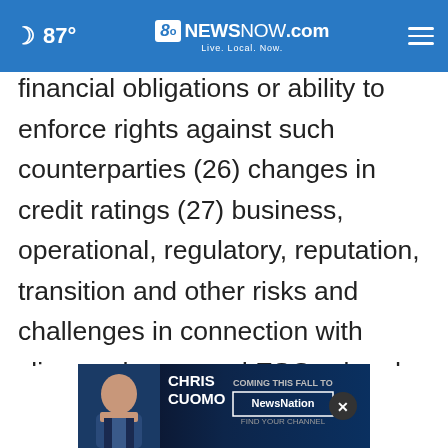87° 8NewsNow.com Live. Local. Now.
financial obligations or ability to enforce rights against such counterparties (26) changes in credit ratings (27) business, operational, regulatory, reputation, transition and other risks and challenges in connection with climate change and ESG-related matters (28) inability to attract and retain key personnel (29) future liabilities under defined benefit retirement plans (30) failure to manage business risk, including in connection with use of models, use of derivatives, or maintaining appropriate policies and guidelines relating to market risk, including interbank funding, as well as customer
[Figure (other): Chris Cuomo Coming This Fall to NewsNation advertisement banner with photo of Chris Cuomo]